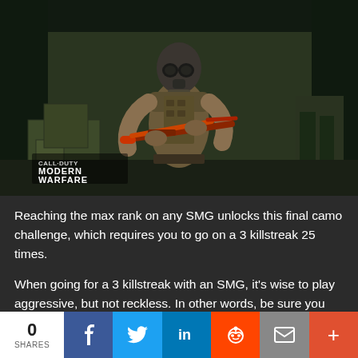[Figure (screenshot): Screenshot from Call of Duty: Modern Warfare showing a soldier in tactical gear with a gas mask holding a red/orange assault rifle in a dark warehouse-like environment. The Call of Duty Modern Warfare logo appears in the lower left corner.]
Reaching the max rank on any SMG unlocks this final camo challenge, which requires you to go on a 3 killstreak 25 times.
When going for a 3 killstreak with an SMG, it's wise to play aggressive, but not reckless. In other words, be sure you have a Stim ready after a rough engagement or wait it out
0 SHARES | Facebook | Twitter | LinkedIn | Reddit | Email | More